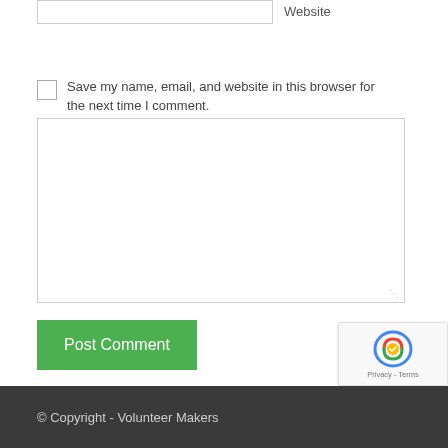Website
Save my name, email, and website in this browser for the next time I comment.
Post Comment
© Copyright - Volunteer Makers